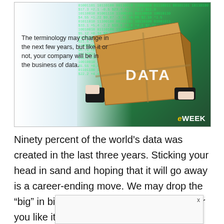[Figure (photo): Photo of a businessman in a suit holding a large cardboard box labeled 'DATA' against a green digital data background with binary/code characters. Text overlay on the left reads: 'The terminology may change in the next few years, but like it or not, your company will be in the business of data.' eWEEK logo in bottom-right corner.]
Ninety percent of the world's data was created in the last three years. Sticking your head in sand and hoping that it will go away is a career-ending move. We may drop the “big” in big data in a few years, but whether you like it or not, your company